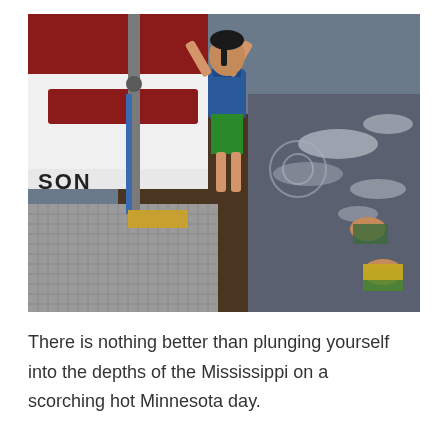[Figure (photo): A child wearing a blue life jacket and green shorts jumps from a dock into the murky brown waters of the Mississippi River, while two other children swim nearby in the sparkling water. A maroon and white boat is visible on the left side of the dock.]
There is nothing better than plunging yourself into the depths of the Mississippi on a scorching hot Minnesota day.